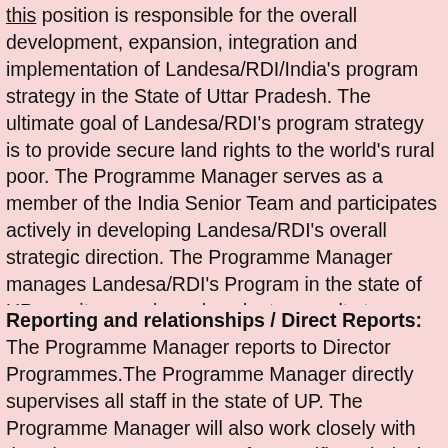this position is responsible for the overall development, expansion, integration and implementation of Landesa/RDI/India's program strategy in the State of Uttar Pradesh. The ultimate goal of Landesa/RDI's program strategy is to provide secure land rights to the world's rural poor. The Programme Manager serves as a member of the India Senior Team and participates actively in developing Landesa/RDI's overall strategic direction. The Programme Manager manages Landesa/RDI's Program in the state of UP, monitors work, and evaluates results to ensure that departmental, organizational objectives and operating requirements are met and are in line with the needs and mission of Landesa/RDI/India.
Reporting and relationships / Direct Reports: The Programme Manager reports to Director Programmes.The Programme Manager directly supervises all staff in the state of UP. The Programme Manager will also work closely with the Director – Programmes for specific technical support areas specially Research and Monitoring and Evaluation. As the Budget holder for the state of Uttar Pradesh the Programme Manager will also work closely with Landesa/RDI's Director of Finance and Operations at